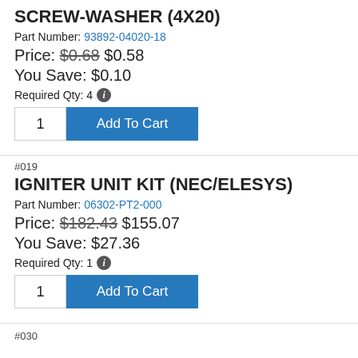SCREW-WASHER (4X20)
Part Number: 93892-04020-18
Price: $0.68 $0.58
You Save: $0.10
Required Qty: 4
1  Add To Cart
#019
IGNITER UNIT KIT (NEC/ELESYS)
Part Number: 06302-PT2-000
Price: $182.43 $155.07
You Save: $27.36
Required Qty: 1
1  Add To Cart
#030